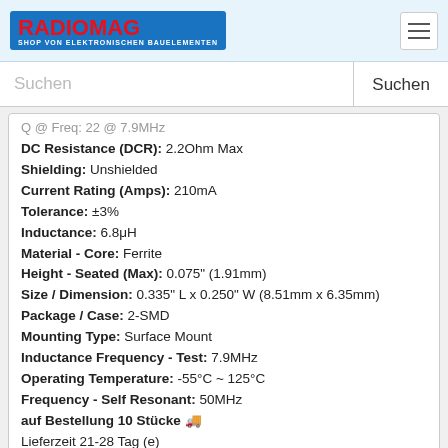RADIOMAG - SHOP VON ELEKTRONISCHEN BAUELEMENTEN
Suchen
Q @ Freq: 22 @ 7.9MHz
DC Resistance (DCR): 2.2Ohm Max
Shielding: Unshielded
Current Rating (Amps): 210mA
Tolerance: ±3%
Inductance: 6.8μH
Material - Core: Ferrite
Height - Seated (Max): 0.075" (1.91mm)
Size / Dimension: 0.335" L x 0.250" W (8.51mm x 6.35mm)
Package / Case: 2-SMD
Mounting Type: Surface Mount
Inductance Frequency - Test: 7.9MHz
Operating Temperature: -55°C ~ 125°C
Frequency - Self Resonant: 50MHz
auf Bestellung 10 Stücke
Lieferzeit 21-28 Tag (e)
kaufen
103-821H
103-821H